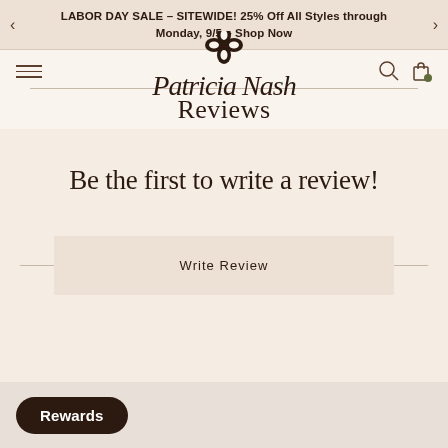LABOR DAY SALE – SITEWIDE! 25% Off All Styles through Monday, 9/5 – Shop Now
[Figure (logo): Patricia Nash cursive script logo with floral emblem]
Reviews
Be the first to write a review!
Write Review
Rewards